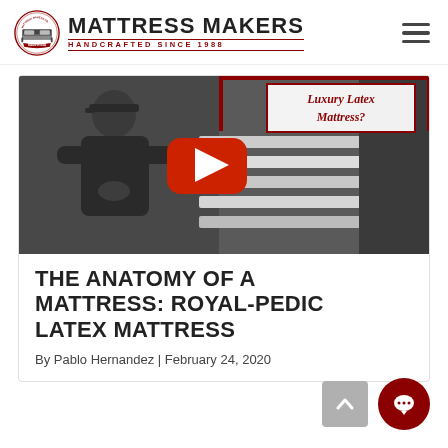MATTRESS MAKERS — HANDCRAFTED SINCE 1988
[Figure (screenshot): Video thumbnail showing a man in a black shirt standing next to a mattress, with text overlay 'Luxury Latex Mattress?' and a YouTube play button in the center. The image is in black and white.]
THE ANATOMY OF A MATTRESS: ROYAL-PEDIC LATEX MATTRESS
By Pablo Hernandez | February 24, 2020